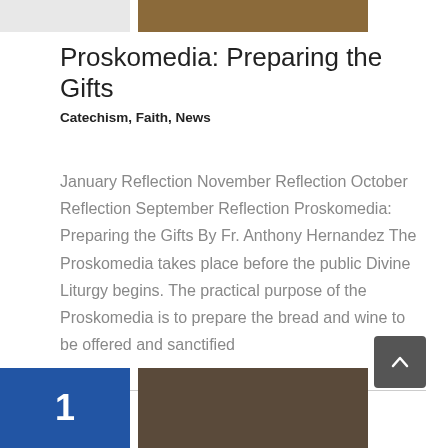[Figure (photo): Two images at top: a light grey placeholder image on the left and a brownish/tan photo on the right]
Proskomedia: Preparing the Gifts
Catechism, Faith, News
January Reflection November Reflection October Reflection September Reflection Proskomedia: Preparing the Gifts By Fr. Anthony Hernandez The Proskomedia takes place before the public Divine Liturgy begins. The practical purpose of the Proskomedia is to prepare the bread and wine to be offered and sanctified
[Figure (photo): Bottom section with two images: a blue box with white number 1 on the left, and a dark architectural photo on the right]